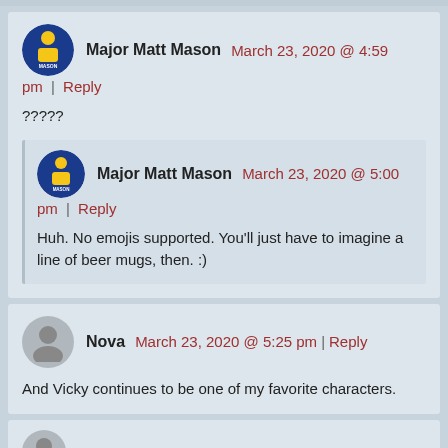Major Matt Mason — March 23, 2020 @ 4:59 pm | Reply
?????
Major Matt Mason — March 23, 2020 @ 5:00 pm | Reply
Huh. No emojis supported. You'll just have to imagine a line of beer mugs, then. :)
Nova — March 23, 2020 @ 5:25 pm | Reply
And Vicky continues to be one of my favorite characters.